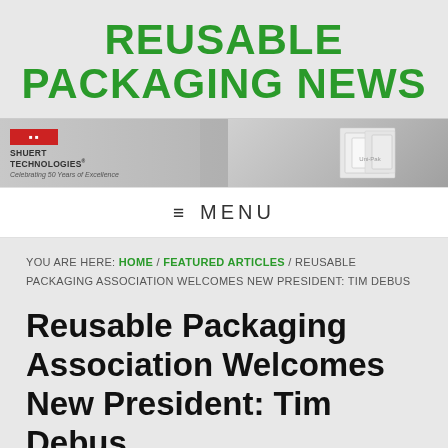REUSABLE PACKAGING NEWS
[Figure (photo): Shuert Technologies banner ad. Left side shows the Shuert Technologies logo with text 'Celebrating 50 Years of Excellence'. Right side shows an image of white corrugated/stacked boxes or packaging containers.]
≡ MENU
YOU ARE HERE: HOME / FEATURED ARTICLES / REUSABLE PACKAGING ASSOCIATION WELCOMES NEW PRESIDENT: TIM DEBUS
Reusable Packaging Association Welcomes New President: Tim Debus